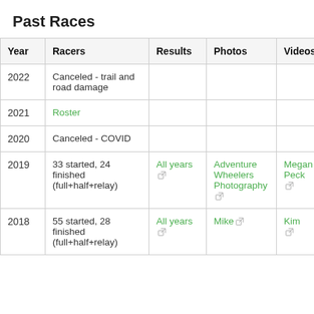Past Races
| Year | Racers | Results | Photos | Videos |
| --- | --- | --- | --- | --- |
| 2022 | Canceled - trail and road damage |  |  |  |
| 2021 | Roster |  |  |  |
| 2020 | Canceled - COVID |  |  |  |
| 2019 | 33 started, 24 finished (full+half+relay) | All years | Adventure Wheelers Photography | Megan Peck |
| 2018 | 55 started, 28 finished (full+half+relay) | All years | Mike | Kim |